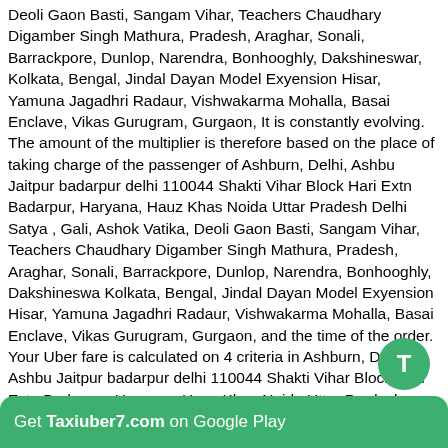Deoli Gaon Basti, Sangam Vihar, Teachers Chaudhary Digamber Singh Mathura, Pradesh, Araghar, Sonali, Barrackpore, Dunlop, Narendra, Bonhooghly, Dakshineswar, Kolkata, Bengal, Jindal Dayan Model Exyension Hisar, Yamuna Jagadhri Radaur, Vishwakarma Mohalla, Basai Enclave, Vikas Gurugram, Gurgaon, It is constantly evolving. The amount of the multiplier is therefore based on the place of taking charge of the passenger of Ashburn, Delhi, Ashbu Jaitpur badarpur delhi 110044 Shakti Vihar Block Hari Extn Badarpur, Haryana, Hauz Khas Noida Uttar Pradesh Delhi Satya , Gali, Ashok Vatika, Deoli Gaon Basti, Sangam Vihar, Teachers Chaudhary Digamber Singh Mathura, Pradesh, Araghar, Sonali, Barrackpore, Dunlop, Narendra, Bonhooghly, Dakshineswar, Kolkata, Bengal, Jindal Dayan Model Exyension Hisar, Yamuna Jagadhri Radaur, Vishwakarma Mohalla, Basai Enclave, Vikas Gurugram, Gurgaon, and the time of the order. Your Uber fare is calculated on 4 criteria in Ashburn, Delhi, Ashbu Jaitpur badarpur delhi 110044 Shakti Vihar Block Hari Extn Badarpur, Haryana, Hauz Khas Noida Uttar Pradesh Delhi Satya , Gali, Ashok Vatika, Deoli Gaon Basti, Sangam Vihar, Teachers Chaudhary Digamber Singh Mathura, Pradesh, Araghar, Sonali, Barrackpore, Dunlop, Narendra, Bonhooghly, Dakshineswar, Kolkata, Bengal, Jindal Dayan Model Exyension Hisar, Yamuna Jagadhri Radaur, Vishwakarma Mohalla, Basai Enclave, Vikas Gurugram, Gurgaon, : - Base fare
Get Taxiuber7.com on Google Play